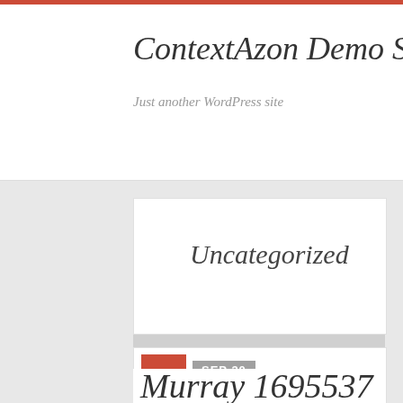ContextAzon Demo Site
Just another WordPress site
Uncategorized
SEP 30
Murray 1695537 21-Inch 190cc 4-Cycle OHV Briggs &